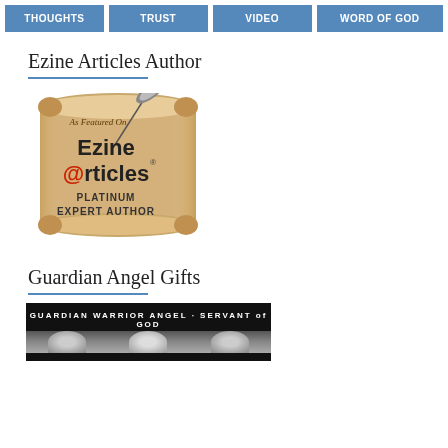THOUGHTS | TRUST | VIDEO | WORD OF GOD
Ezine Articles Author
[Figure (logo): EzineArticles Platinum Expert Author badge — a scroll graphic with a quill pen, text reading 'As Featured On Ezine @rticles PLATINUM EXPERT AUTHOR']
Guardian Angel Gifts
[Figure (photo): Dark image with white text reading 'GUARDIAN WARRIOR ANGEL · SERVANT of GOD' with partial faces below]